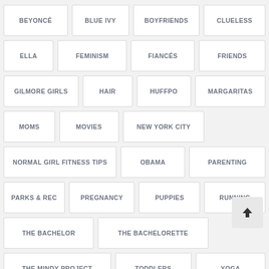BEYONCÉ
BLUE IVY
BOYFRIENDS
CLUELESS
ELLA
FEMINISM
FIANCÉS
FRIENDS
GILMORE GIRLS
HAIR
HUFFPO
MARGARITAS
MOMS
MOVIES
NEW YORK CITY
NORMAL GIRL FITNESS TIPS
OBAMA
PARENTING
PARKS & REC
PREGNANCY
PUPPIES
RUNNING
THE BACHELOR
THE BACHELORETTE
THE MINDY PROJECT
TODDLERS
YOGA